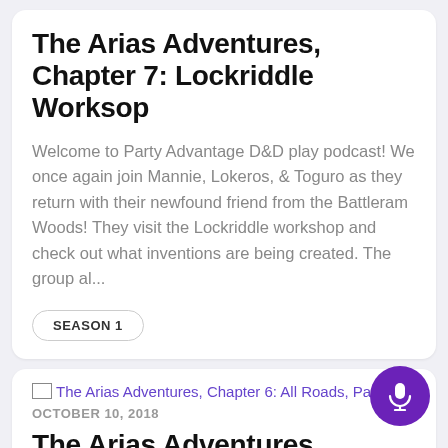The Arias Adventures, Chapter 7: Lockriddle Worksop
Welcome to Party Advantage D&D play podcast! We once again join Mannie, Lokeros, & Toguro as they return with their newfound friend from the Battleram Woods! They visit the Lockriddle workshop and check out what inventions are being created. The group al...
SEASON 1
[Figure (other): Small broken image icon with alt text linking to The Arias Adventures, Chapter 6: All Roads, Part 2]
OCTOBER 10, 2018
The Arias Adventures, Chapter 6: All Roads, Part 2
Welcome to Party Advantage D&D play podcast! Roads, along with